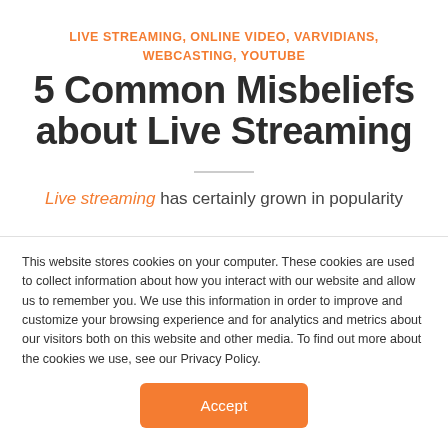LIVE STREAMING, ONLINE VIDEO, VARVIDIANS, WEBCASTING, YOUTUBE
5 Common Misbeliefs about Live Streaming
Live streaming has certainly grown in popularity
This website stores cookies on your computer. These cookies are used to collect information about how you interact with our website and allow us to remember you. We use this information in order to improve and customize your browsing experience and for analytics and metrics about our visitors both on this website and other media. To find out more about the cookies we use, see our Privacy Policy.
Accept